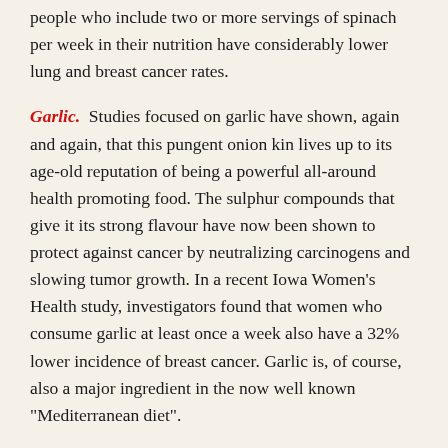people who include two or more servings of spinach per week in their nutrition have considerably lower lung and breast cancer rates.
Garlic. Studies focused on garlic have shown, again and again, that this pungent onion kin lives up to its age-old reputation of being a powerful all-around health promoting food. The sulphur compounds that give it its strong flavour have now been shown to protect against cancer by neutralizing carcinogens and slowing tumor growth. In a recent Iowa Women's Health study, investigators found that women who consume garlic at least once a week also have a 32% lower incidence of breast cancer. Garlic is, of course, also a major ingredient in the now well known "Mediterranean diet".
Whole Wheat. In a recent study at the University of Iowa, scientist found that the more whole grain there is in a woman's diet, the lower her risk of breast cancer, as well as heart disease. In this study, as well as an